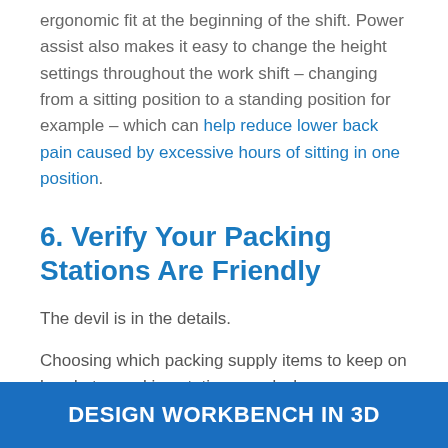ergonomic fit at the beginning of the shift. Power assist also makes it easy to change the height settings throughout the work shift – changing from a sitting position to a standing position for example – which can help reduce lower back pain caused by excessive hours of sitting in one position.
6. Verify Your Packing Stations Are Friendly
The devil is in the details.
Choosing which packing supply items to keep on hand at a packing station – and where – can have a great impact on overall efficiency.
DESIGN WORKBENCH IN 3D